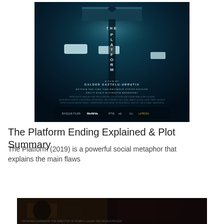[Figure (photo): Movie poster for 'The Platform' (El Hoyo) — a tall vertical shaft descending into darkness with a floating platform near the top, teal/dark teal color scheme. Text reads 'THE PLATFORM' vertically, 'A FILM BY GALDER GAZTELU-URRUTIA', cast: 'ANTONIA SAN JUAN IVÁN MASSAGUÉ ZORION EGUILOR EMILIO BUALE ALEXANDRA MASANGKAY'. Production credits and logos at bottom.]
The Platform Ending Explained & Plot Summary
The Platform (2019) is a powerful social metaphor that explains the main flaws
[Figure (screenshot): Bottom strip image showing a dark cinematic scene, partially visible, likely from a film or promotional image.]